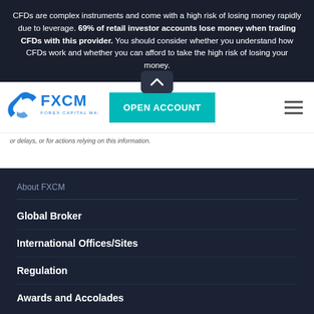CFDs are complex instruments and come with a high risk of losing money rapidly due to leverage. 69% of retail investor accounts lose money when trading CFDs with this provider. You should consider whether you understand how CFDs work and whether you can afford to take the high risk of losing your money.
[Figure (logo): FXCM - Forex Capital Markets logo in blue]
OPEN ACCOUNT
or delays, or for actions relying on this information.
About FXCM
Global Broker
International Offices/Sites
Regulation
Awards and Accolades